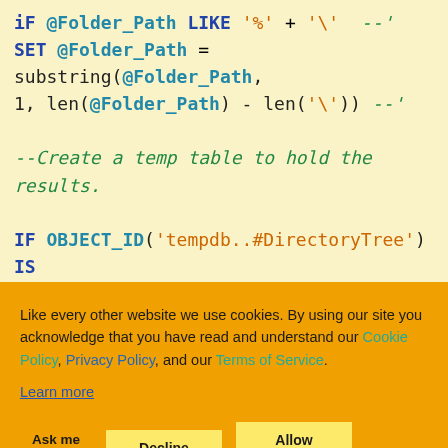iF @Folder_Path LIKE '%' + '\' --'
SET @Folder_Path = substring(@Folder_Path, 1, len(@Folder_Path) - len('\')) --'

--Create a temp table to hold the results.

IF OBJECT_ID('tempdb..#DirectoryTree') IS NOT NULL
DROP TABLE #DirectoryTree;

CREATE TABLE #DirectoryTree (
id INT IDENTITY(1,1)
Like every other website we use cookies. By using our site you acknowledge that you have read and understand our Cookie Policy, Privacy Policy, and our Terms of Service.
Learn more

Ask me later   Decline   Allow cookies
); //"
{